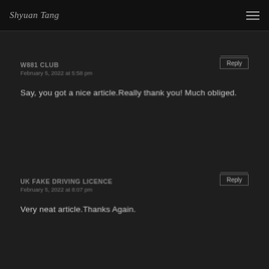Shyuan Tang — [navigation menu icon]
w881 club
February 5, 2022 at 5:58 pm
Reply
Say, you got a nice article.Really thank you! Much obliged.
UK FAKE DRIVING LICENCE
February 5, 2022 at 8:07 pm
Reply
Very neat article.Thanks Again.